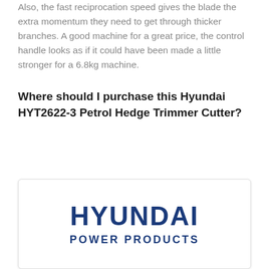Also, the fast reciprocation speed gives the blade the extra momentum they need to get through thicker branches. A good machine for a great price, the control handle looks as if it could have been made a little stronger for a 6.8kg machine.
Where should I purchase this Hyundai HYT2622-3 Petrol Hedge Trimmer Cutter?
[Figure (logo): Hyundai Power Products logo — bold navy blue text reading HYUNDAI above POWER PRODUCTS, inside a white rounded rectangle with light shadow border]